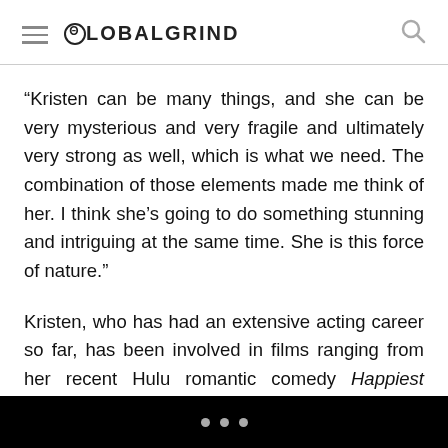GLOBALGRIND
“Kristen can be many things, and she can be very mysterious and very fragile and ultimately very strong as well, which is what we need. The combination of those elements made me think of her. I think she’s going to do something stunning and intriguing at the same time. She is this force of nature.”
Kristen, who has had an extensive acting career so far, has been involved in films ranging from her recent Hulu romantic comedy Happiest Season to science fiction action film Underwater. Though Stewart was only 7 years old when Princess Diana died in a tragic car accident in 1997, she speaks on how her youthful memories of that tragedy influenced her to take the part in Spencer.